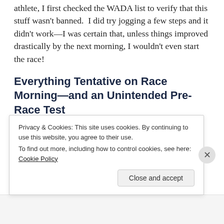athlete, I first checked the WADA list to verify that this stuff wasn't banned.  I did try jogging a few steps and it didn't work—I was certain that, unless things improved drastically by the next morning, I wouldn't even start the race!
Everything Tentative on Race Morning—and an Unintended Pre-Race Test
Flexoril definitely knocks me out and so I slept like a baby. I woke up and started to slowly...
Privacy & Cookies: This site uses cookies. By continuing to use this website, you agree to their use.
To find out more, including how to control cookies, see here: Cookie Policy